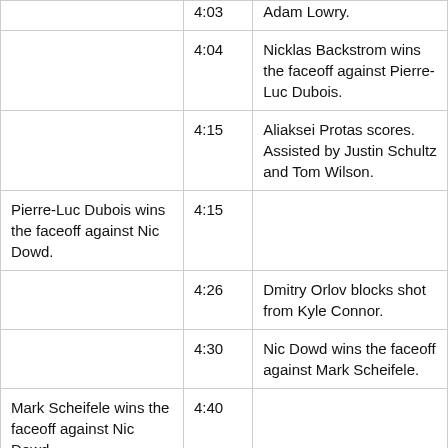| Team/Event | Time | Description |
| --- | --- | --- |
|  | 4:03 | Adam Lowry. |
|  | 4:04 | Nicklas Backstrom wins the faceoff against Pierre-Luc Dubois. |
|  | 4:15 | Aliaksei Protas scores. Assisted by Justin Schultz and Tom Wilson. |
| Pierre-Luc Dubois wins the faceoff against Nic Dowd. | 4:15 |  |
|  | 4:26 | Dmitry Orlov blocks shot from Kyle Connor. |
|  | 4:30 | Nic Dowd wins the faceoff against Mark Scheifele. |
| Mark Scheifele wins the faceoff against Nic Dowd. | 4:40 |  |
|  | 4:53 | Nic Dowd blocks shot from |